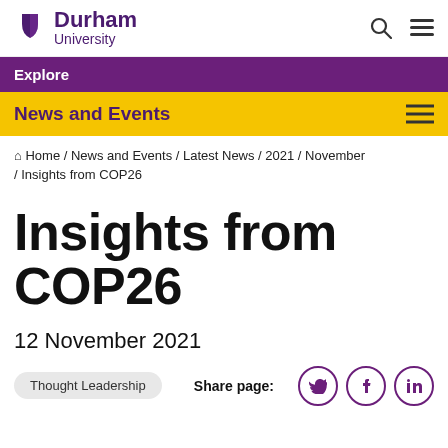Durham University
Explore
News and Events
Home / News and Events / Latest News / 2021 / November / Insights from COP26
Insights from COP26
12 November 2021
Thought Leadership   Share page: